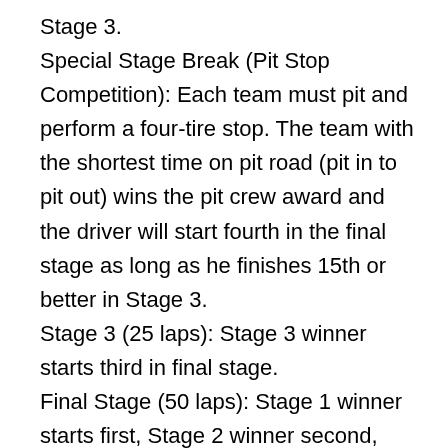Stage 3.
Special Stage Break (Pit Stop Competition): Each team must pit and perform a four-tire stop. The team with the shortest time on pit road (pit in to pit out) wins the pit crew award and the driver will start fourth in the final stage as long as he finishes 15th or better in Stage 3.
Stage 3 (25 laps): Stage 3 winner starts third in final stage.
Final Stage (50 laps): Stage 1 winner starts first, Stage 2 winner second, Stage 3 winner third and pit stop competition winner fourth. If no “natural” caution occurs between laps 15 and 25, NASCAR will call an “All-Star” competition caution. Winner of the final stage earns $1 million.